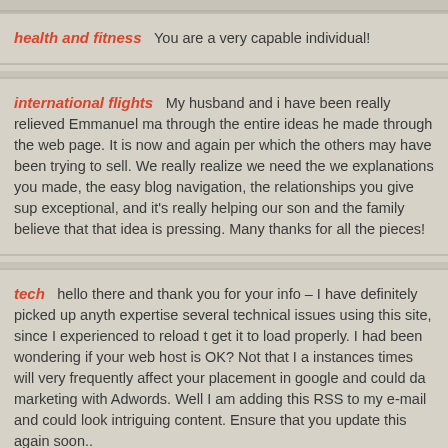health and fitness   You are a very capable individual!
international flights   My husband and i have been really relieved Emmanuel ma through the entire ideas he made through the web page. It is now and again per which the others may have been trying to sell. We really realize we need the we explanations you made, the easy blog navigation, the relationships you give sup exceptional, and it's really helping our son and the family believe that that idea is pressing. Many thanks for all the pieces!
tech   hello there and thank you for your info – I have definitely picked up anyth expertise several technical issues using this site, since I experienced to reload t get it to load properly. I had been wondering if your web host is OK? Not that I a instances times will very frequently affect your placement in google and could da marketing with Adwords. Well I am adding this RSS to my e-mail and could look intriguing content. Ensure that you update this again soon..
home improvement decor   I must express appreciation to this writer just for ba